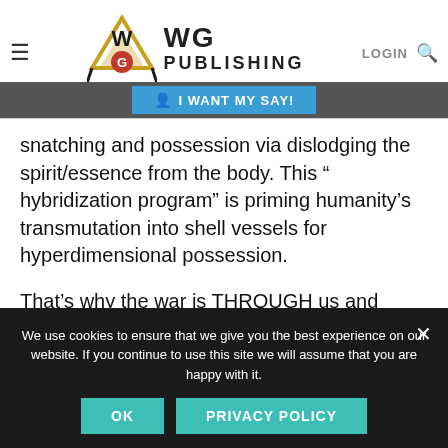WG PUBLISHING
thousands of years (as I've written in more depth in my essay Timeline Reality Split, Frequency Vibration, and the Golden Force). It's about a complete take-over of our physical vehicles (body), by the demonic/divine forces, priming and conditioning our bodies for consciousness walk-ins, soul-snatching and possession via dislodging the spirit/essence from the body. This “hybridization program” is priming humanity’s transmutation into shell vessels for hyperdimensional possession.
That’s why the war is THROUGH us and always has been. And that’s also why the solution and antidote are within us: Soul
We use cookies to ensure that we give you the best experience on our website. If you continue to use this site we will assume that you are happy with it.